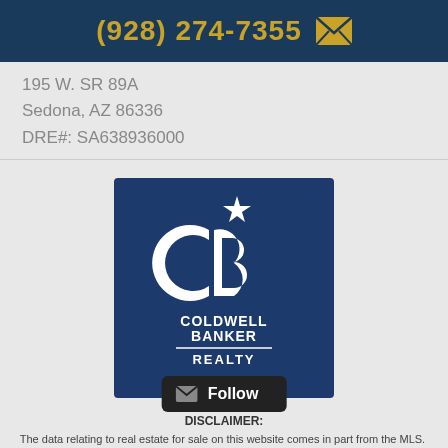(928) 274-7355
195 W. SR 89A
Sedona, AZ 86336
DRE#: SA638936000
[Figure (logo): Coldwell Banker Realty logo — white CB monogram with star on dark navy blue background, with text COLDWELL BANKER REALTY]
DISCLAIMER:
The data relating to real estate for sale on this website comes in part from the MLS. The listing broker has accurate data but is not guaranteed accurate. All information is deemed reliable but not